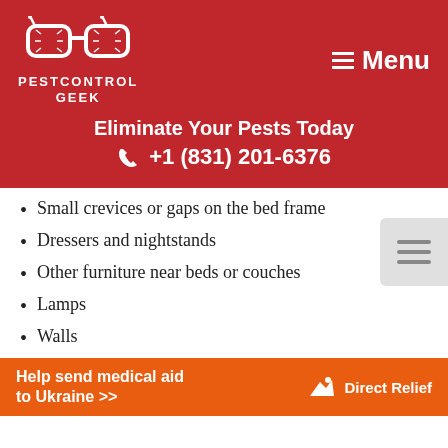[Figure (logo): Pest Control Geek logo with glasses icon and text PESTCONTROL GEEK on red background, with hamburger menu icon and Menu text]
Eliminate Your Pests Today
☎ +1 (831) 201-6376
Small crevices or gaps on the bed frame
Dressers and nightstands
Other furniture near beds or couches
Lamps
Walls
Behind hanging pictures and other hanging items.
Holes or crevices on walls or floorboards.
Help send medical aid to Ukraine >> DirectRelief